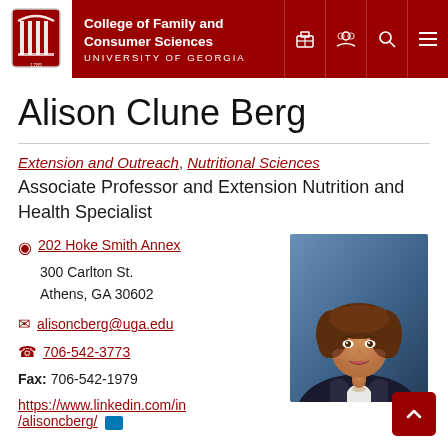College of Family and Consumer Sciences — University of Georgia
Alison Clune Berg
Extension and Outreach, Nutritional Sciences
Associate Professor and Extension Nutrition and Health Specialist
202 Hoke Smith Annex
300 Carlton St.
Athens, GA 30602
[Figure (photo): Professional headshot of Alison Clune Berg, a woman with curly brown hair wearing a dark blazer and white top, smiling, against a blue background.]
alisoncberg@uga.edu
706-542-3773
Fax: 706-542-1979
https://www.linkedin.com/in/alisoncberg/